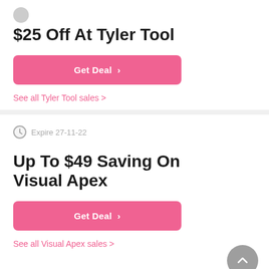$25 Off At Tyler Tool
Get Deal
See all Tyler Tool sales >
Expire 27-11-22
Up To $49 Saving On Visual Apex
Get Deal
See all Visual Apex sales >